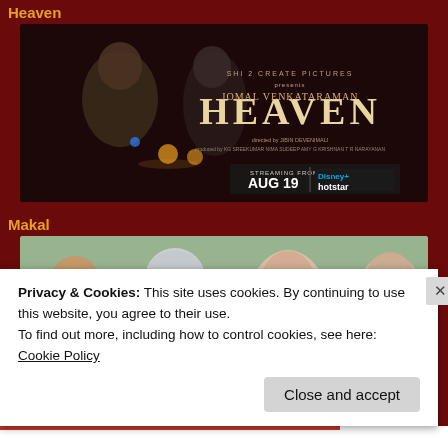Heaven
[Figure (photo): Movie poster for 'Heaven' showing two men in a dark scene with text 'HEAVEN' and streaming info: AUG 19 on Disney+ Hotstar]
Makal
[Figure (photo): Movie poster for 'Makal' showing four people smiling with Malayalam title text]
Privacy & Cookies: This site uses cookies. By continuing to use this website, you agree to their use.
To find out more, including how to control cookies, see here: Cookie Policy
Close and accept